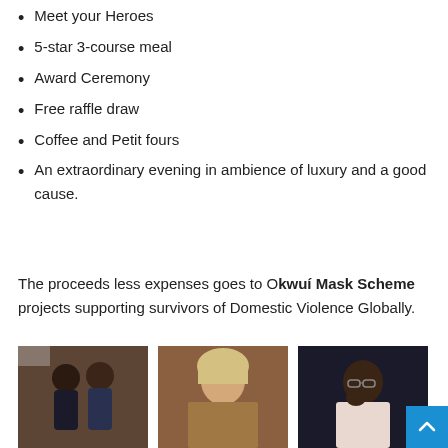Meet your Heroes
5-star 3-course meal
Award Ceremony
Free raffle draw
Coffee and Petit fours
An extraordinary evening in ambience of luxury and a good cause.
The proceeds less expenses goes to Okwuí Mask Scheme projects supporting survivors of Domestic Violence Globally.
[Figure (photo): Two women posing together, one in black outfit, one in dark blue, with a logo visible in the background]
[Figure (photo): Smiling woman with blonde hair wearing a sparkly top]
[Figure (photo): Man in white shirt with hand on chin in thoughtful pose against dark background]